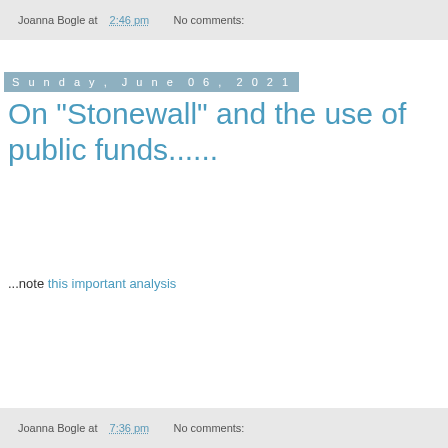Joanna Bogle at 2:46 pm   No comments:
Sunday, June 06, 2021
On "Stonewall" and the use of public funds......
...note this important analysis
Joanna Bogle at 7:36 pm   No comments: